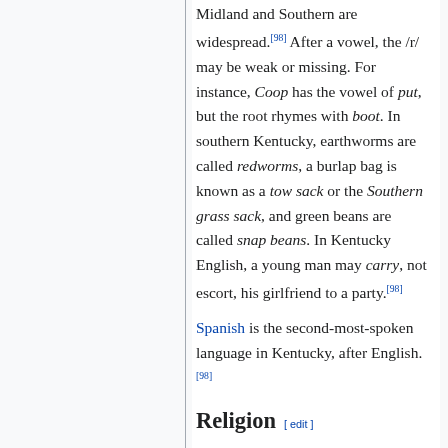Midland and Southern are widespread.[98] After a vowel, the /r/ may be weak or missing. For instance, Coop has the vowel of put, but the root rhymes with boot. In southern Kentucky, earthworms are called redworms, a burlap bag is known as a tow sack or the Southern grass sack, and green beans are called snap beans. In Kentucky English, a young man may carry, not escort, his girlfriend to a party.[98]
Spanish is the second-most-spoken language in Kentucky, after English.[98]
Religion [ edit ]
See also: Religion in Louisville, Kentucky
[Figure (photo): Partial view of a historical map or image related to Religion in Kentucky]